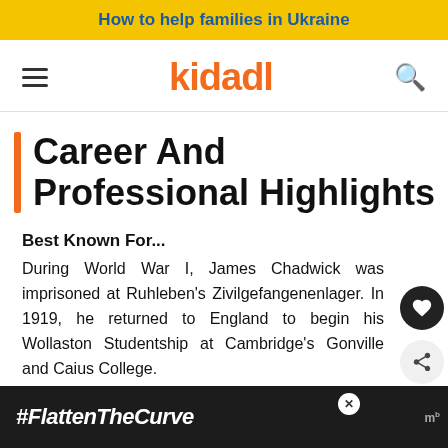How to help families in Ukraine
[Figure (logo): Kidadl logo with hamburger menu and search icon navigation bar]
Career And Professional Highlights
Best Known For...
During World War I, James Chadwick was imprisoned at Ruhleben's Zivilgefangenenlager. In 1919, he returned to England to begin his Wollaston Studentship at Cambridge's Gonville and Caius College.
[Figure (screenshot): Ad banner at bottom: #FlattenTheCurve with image of hands washing]